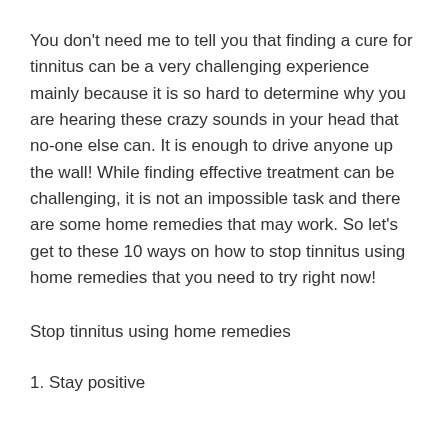You don't need me to tell you that finding a cure for tinnitus can be a very challenging experience mainly because it is so hard to determine why you are hearing these crazy sounds in your head that no-one else can. It is enough to drive anyone up the wall! While finding effective treatment can be challenging, it is not an impossible task and there are some home remedies that may work. So let's get to these 10 ways on how to stop tinnitus using home remedies that you need to try right now!
Stop tinnitus using home remedies
1. Stay positive